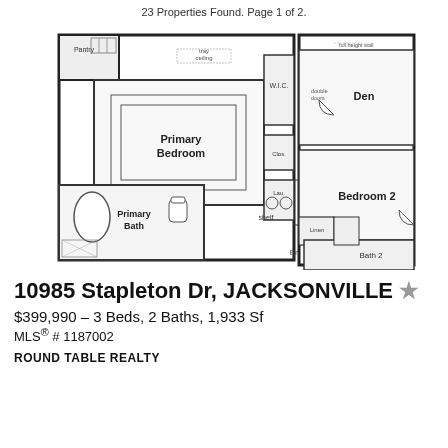23 Properties Found. Page 1 of 2.
[Figure (engineering-diagram): Floor plan showing Primary Bedroom with tray ceiling, W.I.C., Primary Bath, Laundry, Closets, Den, Bedroom 2, Bath 2, Entry, Linen closet, and Pantry areas.]
10985 Stapleton Dr, JACKSONVILLE
$399,990 – 3 Beds, 2 Baths, 1,933 Sf
MLS® # 1187002
ROUND TABLE REALTY